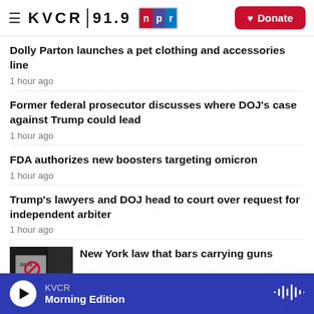KVCR 91.9 NPR — Donate
Dolly Parton launches a pet clothing and accessories line
1 hour ago
Former federal prosecutor discusses where DOJ's case against Trump could lead
1 hour ago
FDA authorizes new boosters targeting omicron
1 hour ago
Trump's lawyers and DOJ head to court over request for independent arbiter
1 hour ago
New York law that bars carrying guns
KVCR
Morning Edition